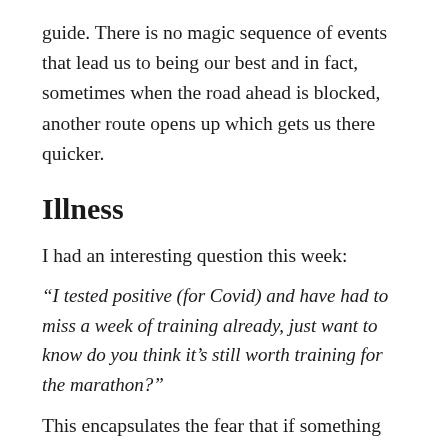guide. There is no magic sequence of events that lead us to being our best and in fact, sometimes when the road ahead is blocked, another route opens up which gets us there quicker.
Illness
I had an interesting question this week:
“I tested positive (for Covid) and have had to miss a week of training already, just want to know do you think it’s still worth training for the marathon?”
This encapsulates the fear that if something doesn’t go 100% right then we won’t achieve the perfect outcome.